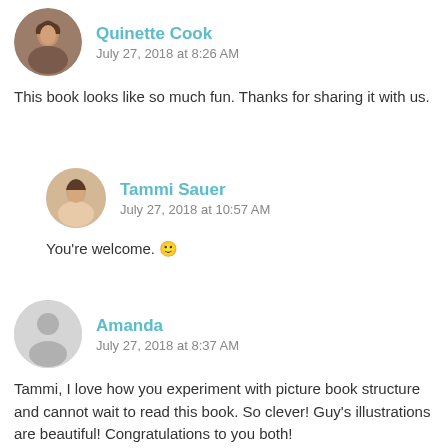[Figure (photo): Avatar photo of Quinette Cook, a woman with dark hair]
Quinette Cook
July 27, 2018 at 8:26 AM
This book looks like so much fun. Thanks for sharing it with us.
[Figure (photo): Avatar photo of Tammi Sauer, a woman with dark hair]
Tammi Sauer
July 27, 2018 at 10:57 AM
You're welcome. 🙂
[Figure (illustration): Generic user avatar placeholder icon (grey silhouette)]
Amanda
July 27, 2018 at 8:37 AM
Tammi, I love how you experiment with picture book structure and cannot wait to read this book. So clever! Guy's illustrations are beautiful! Congratulations to you both!